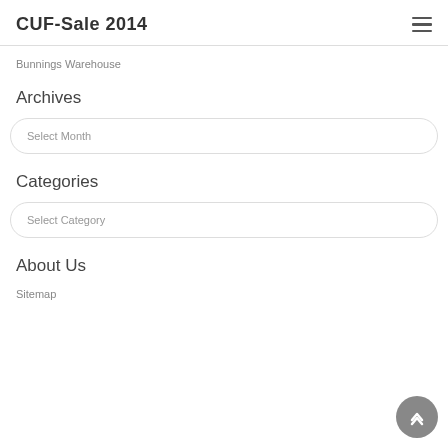CUF-Sale 2014
Bunnings Warehouse
Archives
Select Month
Categories
Select Category
About Us
Sitemap